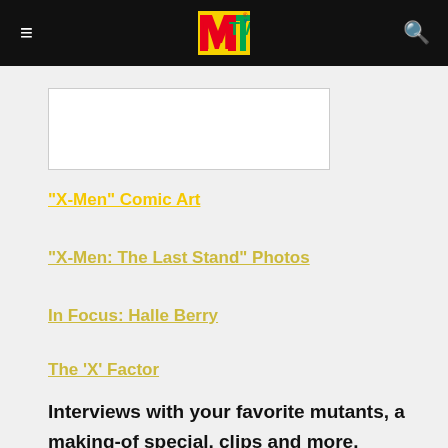MTV
[Figure (photo): A white rectangular image placeholder with a light gray border, partially visible at the top-left content area.]
"X-Men" Comic Art
"X-Men: The Last Stand" Photos
In Focus: Halle Berry
The 'X' Factor
Interviews with your favorite mutants, a
making-of special, clips and more.